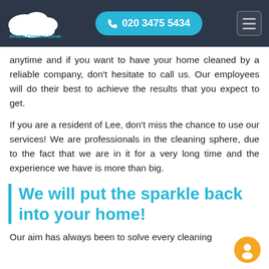Dream Cleaners London | 020 3475 5434
anytime and if you want to have your home cleaned by a reliable company, don't hesitate to call us. Our employees will do their best to achieve the results that you expect to get.
If you are a resident of Lee, don't miss the chance to use our services! We are professionals in the cleaning sphere, due to the fact that we are in it for a very long time and the experience we have is more than big.
We will put the sparkle back into your home!
Our aim has always been to solve every cleaning